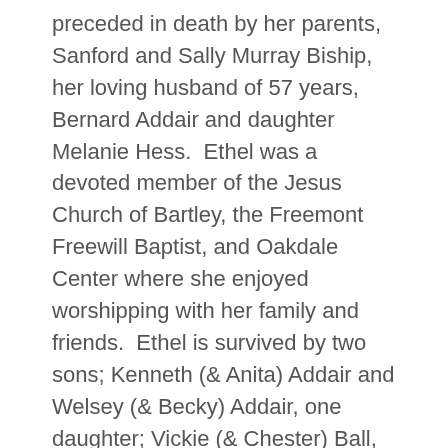preceded in death by her parents, Sanford and Sally Murray Biship, her loving husband of 57 years, Bernard Addair and daughter Melanie Hess.  Ethel was a devoted member of the Jesus Church of Bartley, the Freemont Freewill Baptist, and Oakdale Center where she enjoyed worshipping with her family and friends.  Ethel is survived by two sons; Kenneth (& Anita) Addair and Welsey (& Becky) Addair, one daughter; Vickie (& Chester) Ball, two grandsons; Shawn David Addair and Billy (& Mamie) Ball, 6 granddaughters or little dolls as she always called them; Charlotte (& Kevin) Auville, Marie (& Kevin) Owens, Brittany Addair-Tracy, Cassey (& Devon) Cline and Elizabeth (& Natosha) Hess. Ethel had three great-grandchildren; Kyle Auville, MaKena Owens and Blade Tracy.  She also had one special Angel waiting on her in Heaven, Kendal Owens.  Ethel